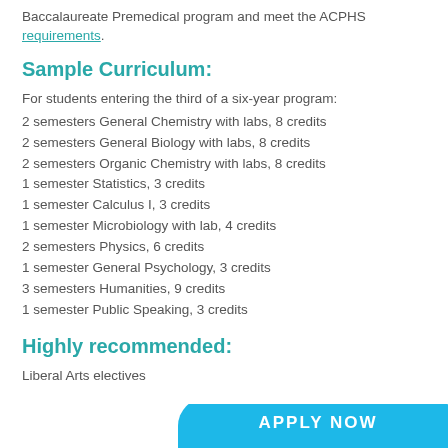Baccalaureate Premedical program and meet the ACPHS requirements.
Sample Curriculum:
For students entering the third of a six-year program:
2 semesters General Chemistry with labs, 8 credits
2 semesters General Biology with labs, 8 credits
2 semesters Organic Chemistry with labs, 8 credits
1 semester Statistics, 3 credits
1 semester Calculus I, 3 credits
1 semester Microbiology with lab, 4 credits
2 semesters Physics, 6 credits
1 semester General Psychology, 3 credits
3 semesters Humanities, 9 credits
1 semester Public Speaking, 3 credits
Highly recommended:
Liberal Arts electives
APPLY NOW